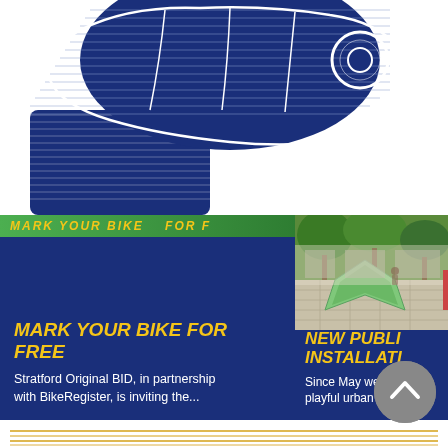[Figure (illustration): Blue etching-style illustration of a hand holding keys, partially cropped at top of page]
[Figure (photo): Card with green banner header reading MARK YOUR BIKE FOR FREE with dark navy blue background]
MARK YOUR BIKE FOR FREE
Stratford Original BID, in partnership with BikeRegister, is inviting the...
[Figure (photo): Photo of outdoor public space with green geometric star-shaped urban furniture installation under trees]
NEW PUBLIC INSTALLATIO
Since May we ins... playful urban fur...
[Figure (other): Gray circular scroll-to-top button with upward chevron arrow]